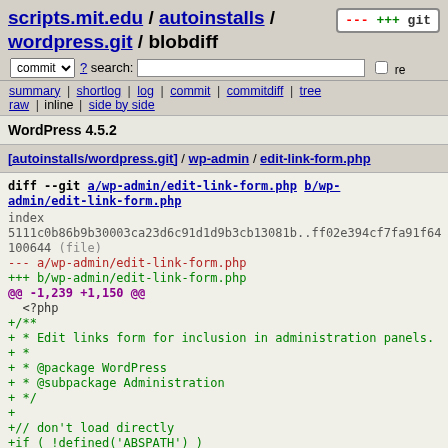scripts.mit.edu / autoinstalls / wordpress.git / blobdiff
commit ? search: re
summary | shortlog | log | commit | commitdiff | tree
raw | inline | side by side
WordPress 4.5.2
[autoinstalls/wordpress.git] / wp-admin / edit-link-form.php
diff --git a/wp-admin/edit-link-form.php b/wp-admin/edit-link-form.php
index 5111c0b86b9b30003ca23d6c91d1d9b3cb13081b..ff02e394cf7fa91f64
100644 (file)
--- a/wp-admin/edit-link-form.php
+++ b/wp-admin/edit-link-form.php
@@ -1,239 +1,150 @@
  <?php
+/**
+ * Edit links form for inclusion in administration panels.
+ *
+ * @package WordPress
+ * @subpackage Administration
+ */
+
+// don't load directly
+if ( !defined('ABSPATH') )